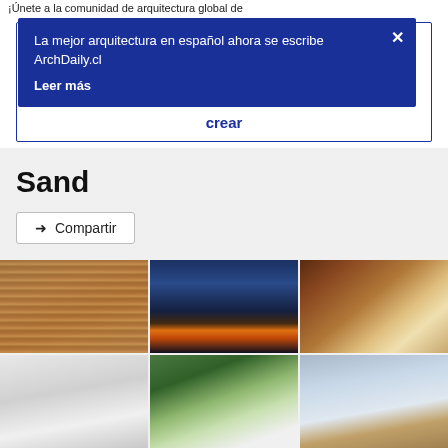¡Únete a la comunidad de arquitectura global de
[Figure (screenshot): Blue popup notification overlay on a white background reading: 'La mejor arquitectura en español ahora se escribe ArchDaily.cl' with a 'Leer más' link and an X close button. Partially visible 'crear' text and a blue-bordered box visible behind the popup.]
Sand
Compartir
[Figure (photo): Grid of 6 architectural photos: top row left - exterior with wooden slat wall and wire chair in desert landscaping; top row center - evening courtyard with fire pit and open glass walls; top row right - warm wood-paneled interior room with white furniture; bottom row left - white modern exterior; bottom row center - white building with trees; bottom row right - modern building with sky.]